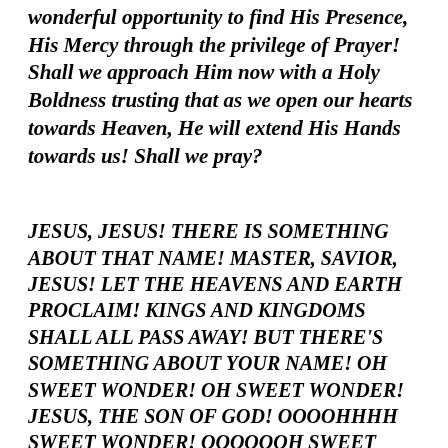wonderful opportunity to find His Presence, His Mercy through the privilege of Prayer! Shall we approach Him now with a Holy Boldness trusting that as we open our hearts towards Heaven, He will extend His Hands towards us! Shall we pray?
JESUS, JESUS! THERE IS SOMETHING ABOUT THAT NAME! MASTER, SAVIOR, JESUS! LET THE HEAVENS AND EARTH PROCLAIM! KINGS AND KINGDOMS SHALL ALL PASS AWAY! BUT THERE'S SOMETHING ABOUT YOUR NAME! OH SWEET WONDER! OH SWEET WONDER! JESUS, THE SON OF GOD! OOOOHHHH SWEET WONDER! OOOOOOH SWEET WONDER, JESUS, THE SON OF GOD!